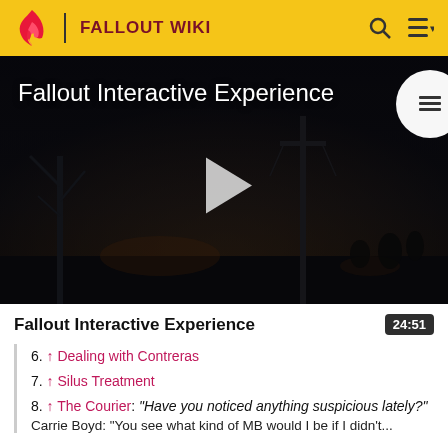FALLOUT WIKI
[Figure (screenshot): Video thumbnail for Fallout Interactive Experience — dark post-apocalyptic scene with dead trees and dim streetlights. White play button triangle centered. TOC icon circle top-right. Title 'Fallout Interactive Experience' overlaid top-left in white.]
Fallout Interactive Experience
24:51
6. ↑ Dealing with Contreras
7. ↑ Silus Treatment
8. ↑ The Courier: "Have you noticed anything suspicious lately?"
Carrie Boyd: "You see what kind of MB would I be if I didn't...